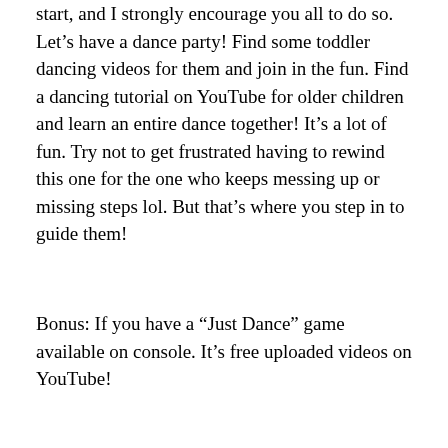start, and I strongly encourage you all to do so. Let's have a dance party! Find some toddler dancing videos for them and join in the fun. Find a dancing tutorial on YouTube for older children and learn an entire dance together! It's a lot of fun. Try not to get frustrated having to rewind this one for the one who keeps messing up or missing steps lol. But that's where you step in to guide them!
Bonus: If you have a “Just Dance” game available on console. It’s free uploaded videos on YouTube!